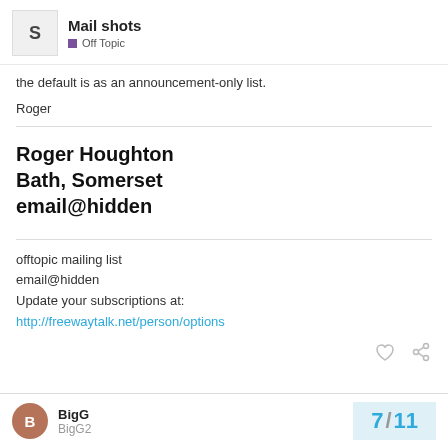Mail shots | Off Topic
the default is as an announcement-only list.
Roger
Roger Houghton
Bath, Somerset
email@hidden
offtopic mailing list
email@hidden
Update your subscriptions at:
http://freewaytalk.net/person/options
BigG BigG2 | 7 / 11